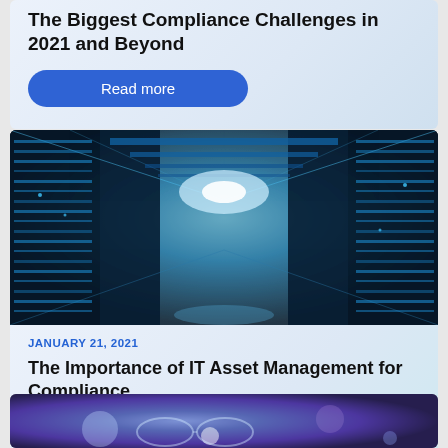The Biggest Compliance Challenges in 2021 and Beyond
Read more
[Figure (photo): Data center corridor with rows of illuminated server racks in blue light]
JANUARY 21, 2021
The Importance of IT Asset Management for Compliance
Read more
[Figure (photo): Blurred tech/glasses image partially visible at bottom of page]